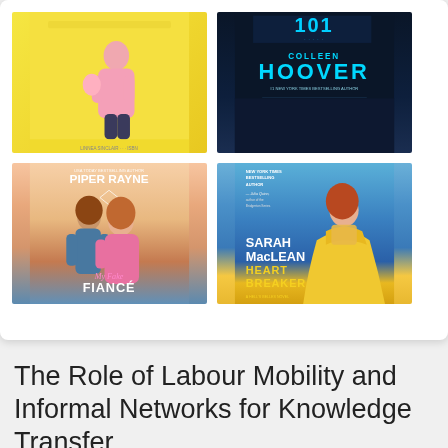[Figure (illustration): A grid of four romance/fiction book covers: top-left is a yellow cover with a figure (partial), top-right is a dark cover by Colleen Hoover, bottom-left is 'My Fake Fiancé' by Piper Rayne showing a couple, bottom-right is 'Heart Breaker' by Sarah MacLean showing a woman in a yellow gown.]
The Role of Labour Mobility and Informal Networks for Knowledge Transfer